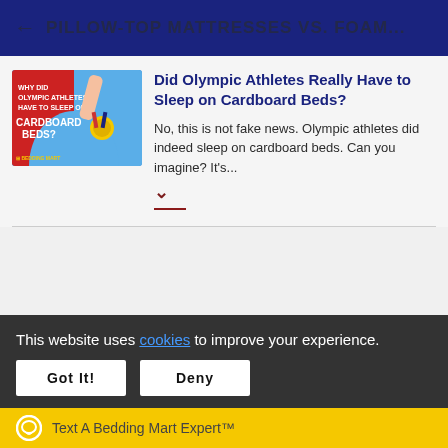← PILLOW-TOP MATTRESSES VS. FOAM...
[Figure (illustration): Article thumbnail image showing an arm holding a gold Olympic medal with ribbon, text overlay reads: WHY DID OLYMPIC ATHLETES HAVE TO SLEEP ON CARDBOARD BEDS?, logo: BEDDING MART]
Did Olympic Athletes Really Have to Sleep on Cardboard Beds?
No, this is not fake news. Olympic athletes did indeed sleep on cardboard beds. Can you imagine? It's...
This website uses cookies to improve your experience.
Got It!
Deny
Text A Bedding Mart Expert™